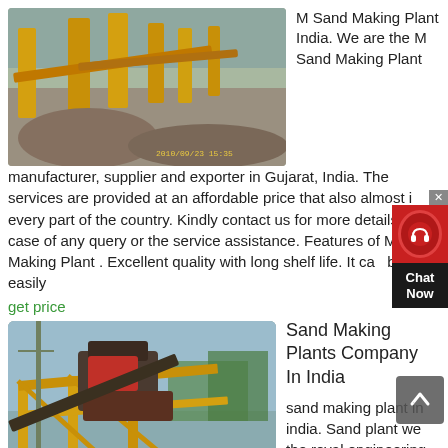[Figure (photo): Photo of M Sand Making Plant with yellow machinery and gravel piles, timestamp 2010/09/23 15:35]
M Sand Making Plant India. We are the M Sand Making Plant manufacturer, supplier and exporter in Gujarat, India. The services are provided at an affordable price that also almost in every part of the country. Kindly contact us for more details in case of any query or the service assistance. Features of M-Sand Making Plant . Excellent quality with long shelf life. It can be easily
get price
[Figure (photo): Photo of Sand Making Plant with yellow steel frame structure and industrial crusher machinery, timestamp 2010/09/23 15:16]
Sand Making Plants Company In India
sand making plant in india. Sand plant we the royal engineering is the prominent sand plant